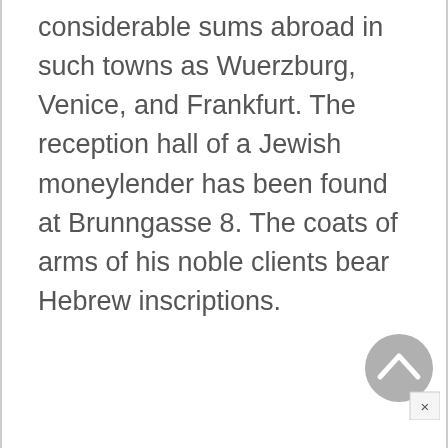considerable sums abroad in such towns as Wuerzburg, Venice, and Frankfurt. The reception hall of a Jewish moneylender has been found at Brunngasse 8. The coats of arms of his noble clients bear Hebrew inscriptions.
[Figure (other): Scroll-to-top button (circle with chevron up arrow) and a close button (X) in the bottom-right corner of the page]